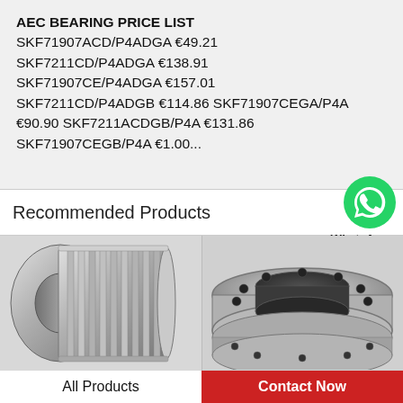AEC BEARING PRICE LIST
SKF71907ACD/P4ADGA €49.21 SKF7211CD/P4ADGA €138.91 SKF71907CE/P4ADGA €157.01 SKF7211CD/P4ADGB €114.86 SKF71907CEGA/P4A €90.90 SKF7211ACDGB/P4A €131.86 SKF71907CEGB/P4A €1.00...
Recommended Products
[Figure (photo): WhatsApp green circle logo icon]
WhatsApp Online
[Figure (photo): Multi-row cylindrical roller bearing, steel, industrial component]
[Figure (photo): Slewing ring bearing / turntable bearing with bolt holes, viewed from above]
All Products
Contact Now